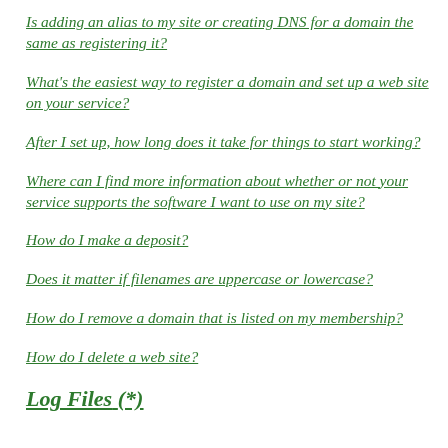Is adding an alias to my site or creating DNS for a domain the same as registering it?
What's the easiest way to register a domain and set up a web site on your service?
After I set up, how long does it take for things to start working?
Where can I find more information about whether or not your service supports the software I want to use on my site?
How do I make a deposit?
Does it matter if filenames are uppercase or lowercase?
How do I remove a domain that is listed on my membership?
How do I delete a web site?
Log Files (*)